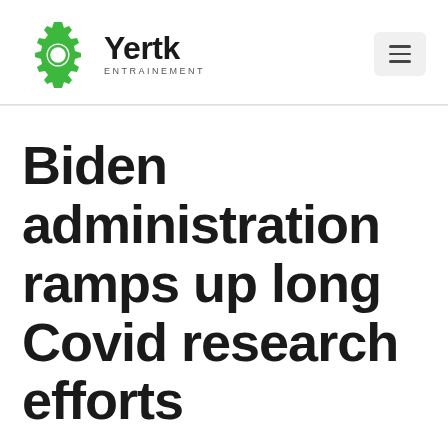Yertk ENTRAINEMENT
Biden administration ramps up long Covid research efforts
April 5, 2022 by yertk